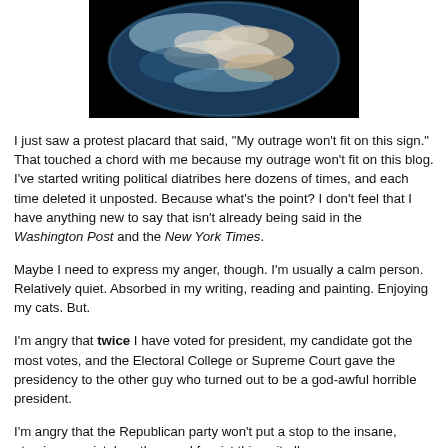[Figure (photo): Photograph of Earth from space against a black background, showing clouds and landmasses.]
I just saw a protest placard that said, "My outrage won't fit on this sign." That touched a chord with me because my outrage won't fit on this blog. I've started writing political diatribes here dozens of times, and each time deleted it unposted. Because what's the point? I don't feel that I have anything new to say that isn't already being said in the Washington Post and the New York Times.
Maybe I need to express my anger, though. I'm usually a calm person. Relatively quiet. Absorbed in my writing, reading and painting. Enjoying my cats. But.
I'm angry that twice I have voted for president, my candidate got the most votes, and the Electoral College or Supreme Court gave the presidency to the other guy who turned out to be a god-awful horrible president.
I'm angry that the Republican party won't put a stop to the insane, atrocious, racist, heartless and fascist things it all...